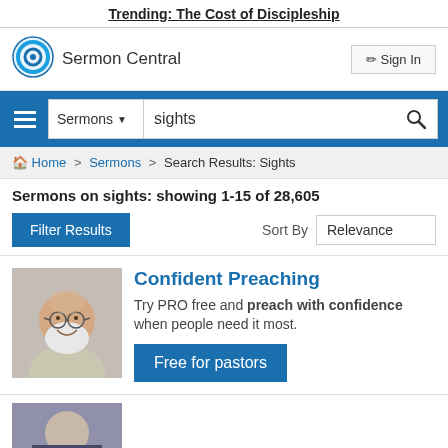Trending: The Cost of Discipleship
[Figure (logo): Sermon Central circular logo icon — blue concentric circles]
Sermon Central
Sign In
Sermons  sights (search bar)
Home > Sermons > Search Results: Sights
Sermons on sights: showing 1-15 of 28,605
Filter Results
Sort By  Relevance
[Figure (photo): Elderly man with white beard and glasses, smiling]
Confident Preaching
Try PRO free and preach with confidence when people need it most.
Free for pastors
[Figure (photo): Partial photo of a person at the bottom of the page]